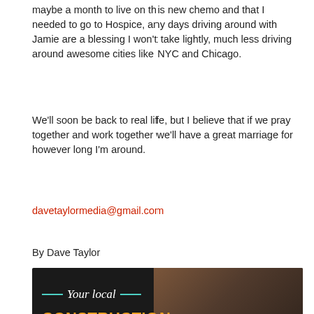maybe a month to live on this new chemo and that I needed to go to Hospice, any days driving around with Jamie are a blessing I won't take lightly, much less driving around awesome cities like NYC and Chicago.
We'll soon be back to real life, but I believe that if we pray together and work together we'll have a great marriage for however long I'm around.
davetaylormedia@gmail.com
By Dave Taylor
[Figure (advertisement): Advertisement for a local Construction & Renovation Loan Experts service. Dark background with a photo of a construction worker. Text reads: 'Your local CONSTRUCTION & RENOVATION LOAN EXPERTS. We offer a Construction & Renovation Loan Program specific to your needs!']